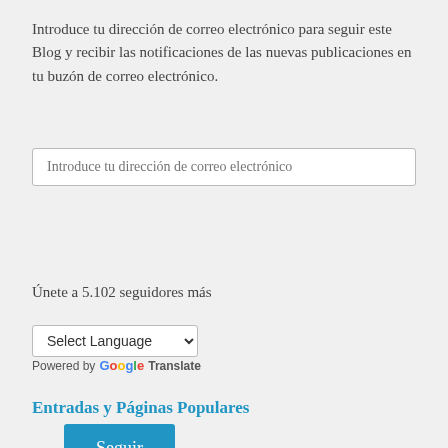Introduce tu dirección de correo electrónico para seguir este Blog y recibir las notificaciones de las nuevas publicaciones en tu buzón de correo electrónico.
Introduce tu dirección de correo electrónico
Seguir
Únete a 5.102 seguidores más
Select Language
Powered by Google Translate
Entradas y Páginas Populares